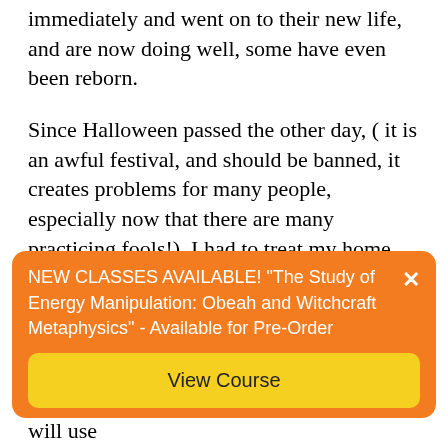immediately and went on to their new life, and are now doing well, some have even been reborn.
Since Halloween passed the other day, ( it is an awful festival, and should be banned, it creates problems for many people, especially now that there are many practicing fools!), I had to treat my home (warding off droves of destructive energies, who are let loose, more than normal), before and after the day, I cannot begin to tell you the going on's in my
many people, into receptacle and ignorant will use
[Figure (infographic): Orange banner notification: 'NEW CLASSES AVAILABLE! "The Study of Energy Manipulation: Obeah and Witchcraft Metaphysics" - Available for Pre-Order' with a close (X) button and a yellow 'View Course' button below.]